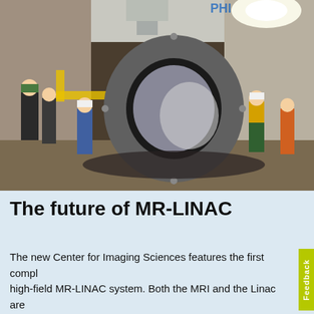[Figure (photo): Wide-angle photo of workers in hard hats installing or inspecting a large MRI or MR-LINAC machine (a large circular ring/bore) in a clinical or laboratory room. Several workers in safety gear surround the machine.]
The future of MR-LINAC
The new Center for Imaging Sciences features the first compl high-field MR-LINAC system. Both the MRI and the Linac are complex, sensitive systems, and extensive innovation was needed to ensure reliable operation in tandem: the radiation